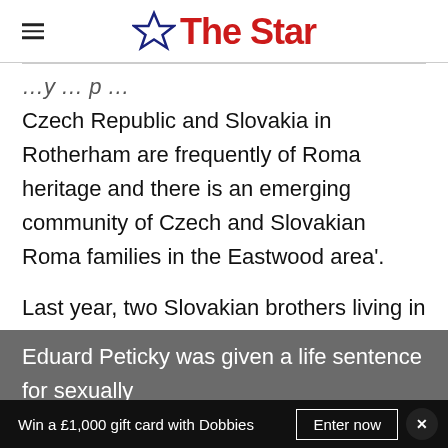The Star
Czech Republic and Slovakia in Rotherham are frequently of Roma heritage and there is an emerging community of Czech and Slovakian Roma families in the Eastwood area'.
Last year, two Slovakian brothers living in Rotherham were jailed for child abuse offences.
Advertisement
Eduard Peticky was given a life sentence for sexually